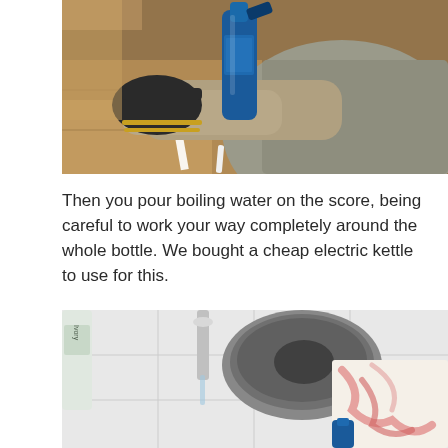[Figure (photo): A person wearing work gloves and a grey hoodie, scoring or cutting a blue glass bottle on a wooden surface. A white scoring tool is visible on the table.]
Then you pour boiling water on the score, being careful to work your way completely around the whole bottle. We bought a cheap electric kettle to use for this.
[Figure (photo): A close-up photo of a glass bottle being cut or cracked in a sink or bathroom area, with water running and a patterned cloth nearby. A soap bottle labeled 'Ivory' is visible in the background.]